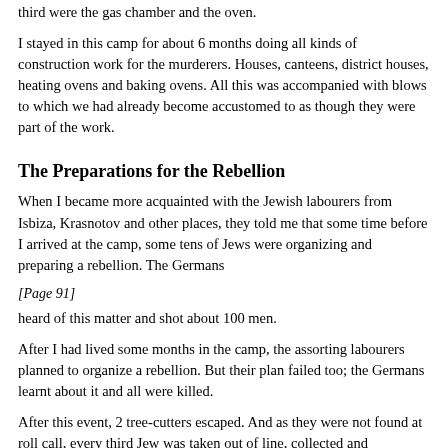third were the gas chamber and the oven.
I stayed in this camp for about 6 months doing all kinds of construction work for the murderers. Houses, canteens, district houses, heating ovens and baking ovens. All this was accompanied with blows to which we had already become accustomed to as though they were part of the work.
The Preparations for the Rebellion
When I became more acquainted with the Jewish labourers from Isbiza, Krasnotov and other places, they told me that some time before I arrived at the camp, some tens of Jews were organizing and preparing a rebellion. The Germans
[Page 91]
heard of this matter and shot about 100 men.
After I had lived some months in the camp, the assorting labourers planned to organize a rebellion. But their plan failed too; the Germans learnt about it and all were killed.
After this event, 2 tree-cutters escaped. And as they were not found at roll call, every third Jew was taken out of line, collected and